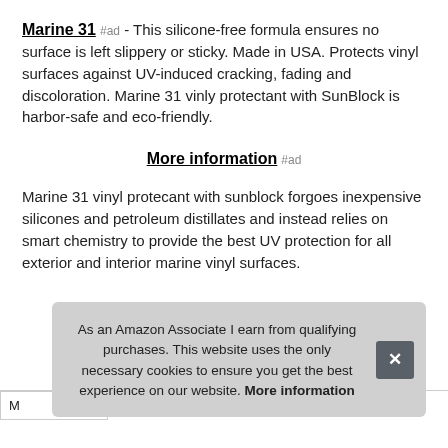Marine 31 #ad - This silicone-free formula ensures no surface is left slippery or sticky. Made in USA. Protects vinyl surfaces against UV-induced cracking, fading and discoloration. Marine 31 vinly protectant with SunBlock is harbor-safe and eco-friendly.
More information #ad
Marine 31 vinyl protecant with sunblock forgoes inexpensive silicones and petroleum distillates and instead relies on smart chemistry to provide the best UV protection for all exterior and interior marine vinyl surfaces.
As an Amazon Associate I earn from qualifying purchases. This website uses the only necessary cookies to ensure you get the best experience on our website. More information